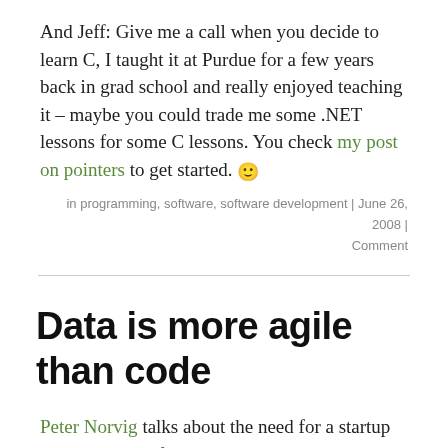And Jeff: Give me a call when you decide to learn C, I taught it at Purdue for a few years back in grad school and really enjoyed teaching it – maybe you could trade me some .NET lessons for some C lessons. You check my post on pointers to get started. 🙂
in programming, software, software development | June 26, 2008 | Comment
Data is more agile than code
Peter Norvig talks about the need for a startup company to go fast – and also in the right direction – at his Startup School 2008 talk.